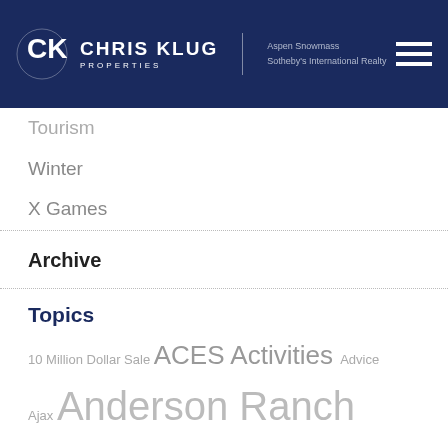Chris Klug Properties | Aspen Snowmass Sotheby's International Realty
Tourism
Winter
X Games
Archive
Topics
10 Million Dollar Sale ACES Activities Advice Ajax Anderson Ranch Après Ski Art and Design Art Events Aspen Aspen Activities Aspen Bucket List Aspen